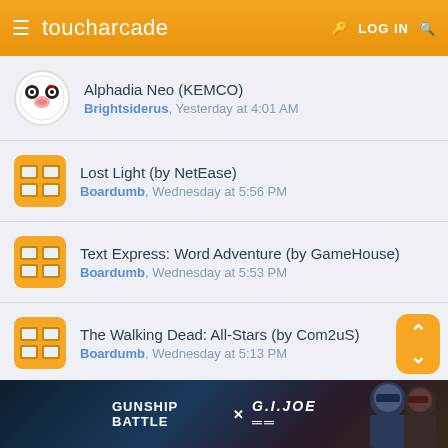toucharcade | LOG IN
Alphadia Neo (KEMCO) — Brightsiderus, Yesterday at 4:01 AM
Lost Light (by NetEase) — Boardumb, Wednesday at 5:56 PM
Text Express: Word Adventure (by GameHouse) — Boardumb, Wednesday at 5:53 PM
The Walking Dead: All-Stars (by Com2uS) — Boardumb, Wednesday at 5:13 PM
Twinkle Star Sprites ACA NEOGEO (by SNK) — Boardumb, Wednesday at 4:36 PM
[Figure (screenshot): Advertisement banner: GUNSHIP BATTLE × G.I.JOE with game characters]